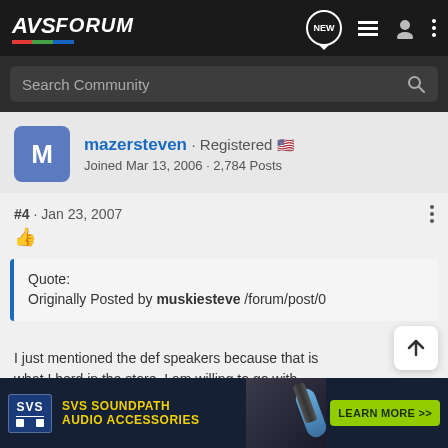AVS FORUM
Search Community
mazersteven · Registered
Joined Mar 13, 2006 · 2,784 Posts
#4 · Jan 23, 2007
Quote:
Originally Posted by muskiesteve /forum/post/0
I just mentioned the def speakers because that is what I herd in the store. I am willing to go with something else but just dont know w
The speakers that you see are my old setup they are cerwin vega
[Figure (screenshot): SVS SoundPath Audio Accessories advertisement banner with learn more button]